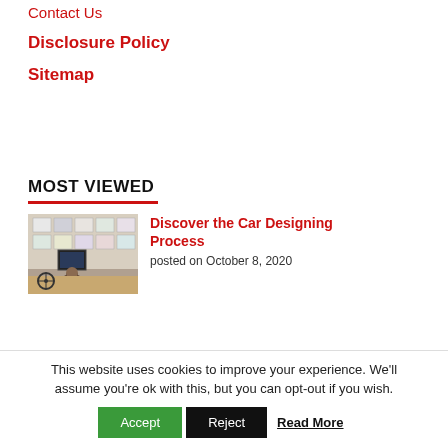Contact Us
Disclosure Policy
Sitemap
MOST VIEWED
[Figure (photo): A person sitting at a desk looking at a monitor displaying car design sketches and CAD drawings on a wall.]
Discover the Car Designing Process
posted on October 8, 2020
This website uses cookies to improve your experience. We'll assume you're ok with this, but you can opt-out if you wish.